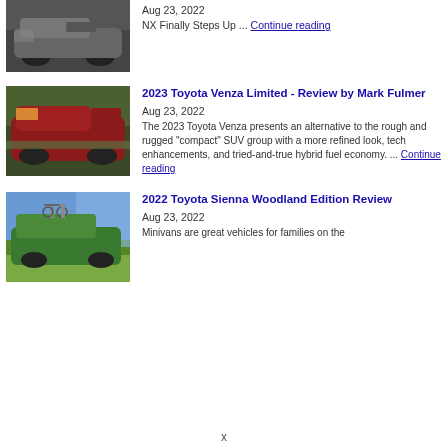[Figure (photo): Dark grey SUV (Lexus NX) on a paved surface]
Aug 23, 2022
NX Finally Steps Up ... Continue reading
[Figure (photo): Red Toyota Venza SUV driving on a road]
2023 Toyota Venza Limited - Review by Mark Fulmer
Aug 23, 2022
The 2023 Toyota Venza presents an alternative to the rough and rugged "compact" SUV group with a more refined look, tech enhancements, and tried-and-true hybrid fuel economy. ... Continue reading
[Figure (photo): Green Toyota Sienna minivan with bikes on roof rack in mountain setting]
2022 Toyota Sienna Woodland Edition Review
Aug 23, 2022
Minivans are great vehicles for families on the